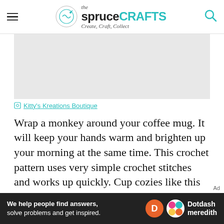the spruce CRAFTS — Create, Craft, Collect
[Figure (photo): Light gray placeholder image rectangle representing a product photo]
Kitty's Kreations Boutique
Wrap a monkey around your coffee mug. It will keep your hands warm and brighten up your morning at the same time. This crochet pattern uses very simple crochet stitches and works up quickly. Cup cozies like this one are excellent for gifts; make a bunch of them to keep on hand anytime you need a last minute item.
[Figure (logo): Dotdash Meredith advertisement banner: 'We help people find answers, solve problems and get inspired.']